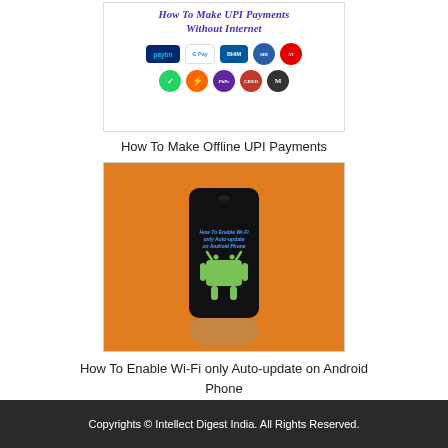[Figure (illustration): Image thumbnail showing 'How To Make UPI Payments Without Internet' with payment app logos including Paytm, Google Pay, BHIM, and others]
How To Make Offline UPI Payments
[Figure (photo): Photo of a hand holding a smartphone with Android logo on an orange background, with text overlay 'How To Enable Wi-Fi only Auto-update on Android Phone']
How To Enable Wi-Fi only Auto-update on Android Phone
Copyrights © Intellect Digest India. All Rights Reserved.